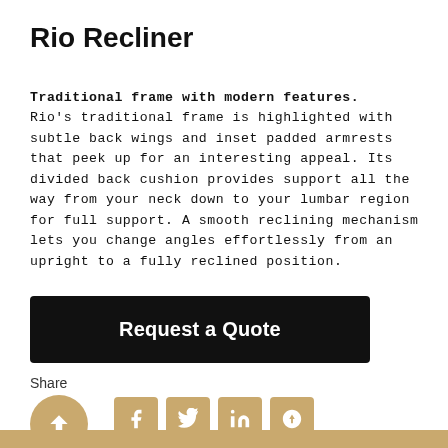Rio Recliner
Traditional frame with modern features. Rio's traditional frame is highlighted with subtle back wings and inset padded armrests that peek up for an interesting appeal. Its divided back cushion provides support all the way from your neck down to your lumbar region for full support. A smooth reclining mechanism lets you change angles effortlessly from an upright to a fully reclined position.
Request a Quote
Share